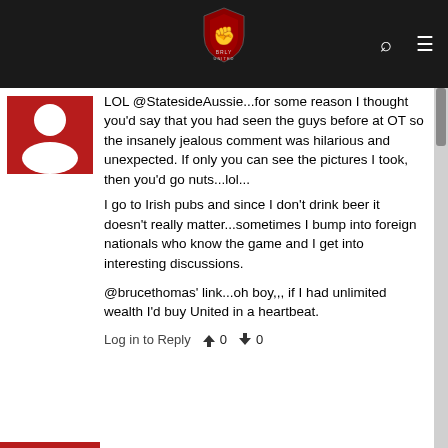BRLY UNITED (logo with navigation icons)
[Figure (illustration): User avatar placeholder - red background with white silhouette]
LOL @StatesideAussie...for some reason I thought you'd say that you had seen the guys before at OT so the insanely jealous comment was hilarious and unexpected. If only you can see the pictures I took, then you'd go nuts...lol...
I go to Irish pubs and since I don't drink beer it doesn't really matter...sometimes I bump into foreign nationals who know the game and I get into interesting discussions.
@brucethomas' link...oh boy,,, if I had unlimited wealth I'd buy United in a heartbeat.
Log in to Reply   👍 0   👎 0